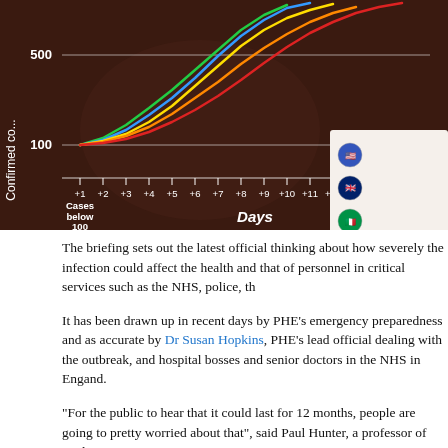[Figure (continuous-plot): Line chart showing confirmed COVID-19 cases over days since cases fell below 100, for multiple countries (USA, UK, Italy, South Korea, Spain). Y-axis shows 'Confirmed cases' with gridlines at 100 and 500. X-axis shows 'Days' from +1 to +16. Lines are colored green, blue, yellow, orange, red for different countries. Country flags shown in legend on right.]
The briefing sets out the latest official thinking about how severely the infection could affect the health and that of personnel in critical services such as the NHS, police, th
It has been drawn up in recent days by PHE's emergency preparedness and as accurate by Dr Susan Hopkins, PHE's lead official dealing with the outbreak, and hospital bosses and senior doctors in the NHS in Engand.
"For the public to hear that it could last for 12 months, people are going to pretty worried about that", said Paul Hunter, a professor of medicine a